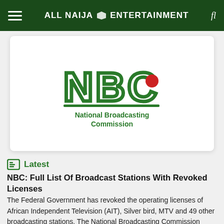ALL NAIJA ENTERTAINMENT
[Figure (logo): NBC National Broadcasting Commission logo — green stylized letters NBC with a red circle, and text 'National Broadcasting Commission' in green below]
Latest
NBC: Full List Of Broadcast Stations With Revoked Licenses
The Federal Government has revoked the operating licenses of African Independent Television (AIT), Silver bird, MTV and 49 other broadcasting stations. The National Broadcasting Commission (NBC) ordered the stations to shut down in the next 24 hours over indebtedness. It said the stations are operating illegally as they are yet to renew their licenses since [...]